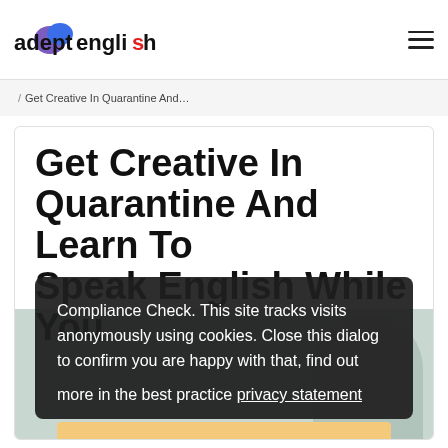adept english
/ Get Creative In Quarantine And...
Get Creative In Quarantine And Learn To Speak English While You
Compliance Check. This site tracks visits anonymously using cookies. Close this dialog to confirm you are happy with that, find out more in the best practice privacy statement
Agree and close